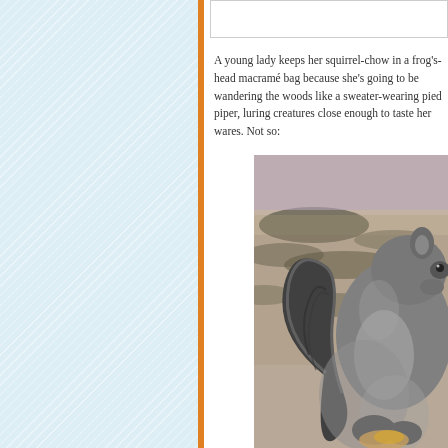A young lady keeps her squirrel-chow in a frog's-head macramé bag because she's going to be wandering the woods like a sweater-wearing pied piper, luring creatures close enough to taste her wares. Not so:
[Figure (photo): Close-up photograph of a grey squirrel, shown from the side/front, with fluffy grey fur and a bushy tail. The squirrel appears to be holding something. Background shows a blurred carpet or fabric with green and beige patterns.]